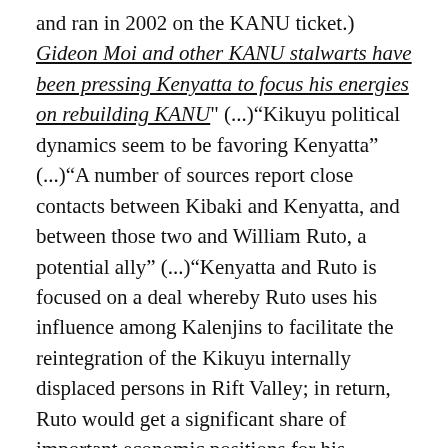and ran in 2002 on the KANU ticket.) Gideon Moi and other KANU stalwarts have been pressing Kenyatta to focus his energies on rebuilding KANU" (...)"Kikuyu political dynamics seem to be favoring Kenyatta" (...)"A number of sources report close contacts between Kibaki and Kenyatta, and between those two and William Ruto, a potential ally" (...)"Kenyatta and Ruto is focused on a deal whereby Ruto uses his influence among Kalenjins to facilitate the reintegration of the Kikuyu internally displaced persons in Rift Valley; in return, Ruto would get a significant share of important economic positions for his Kalenjin political allies" (...)"The reason that Kenyatta is assumed to be on the Waki Commission list of